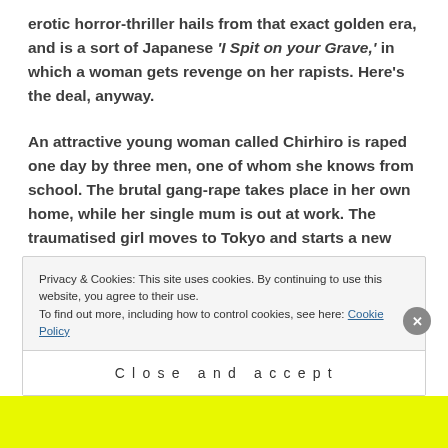erotic horror-thriller hails from that exact golden era, and is a sort of Japanese 'I Spit on your Grave,' in which a woman gets revenge on her rapists. Here's the deal, anyway.

An attractive young woman called Chirhiro is raped one day by three men, one of whom she knows from school. The brutal gang-rape takes place in her own home, while her single mum is out at work. The traumatised girl moves to Tokyo and starts a new life, with a new cropped hair-do instead of her long
Privacy & Cookies: This site uses cookies. By continuing to use this website, you agree to their use.
To find out more, including how to control cookies, see here: Cookie Policy
Close and accept